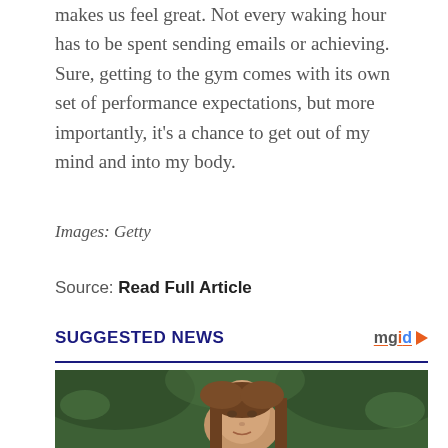makes us feel great. Not every waking hour has to be spent sending emails or achieving. Sure, getting to the gym comes with its own set of performance expectations, but more importantly, it's a chance to get out of my mind and into my body.
Images: Getty
Source: Read Full Article
SUGGESTED NEWS
[Figure (photo): Young girl with long brown hair smiling, photographed outdoors with blurred green foliage background]